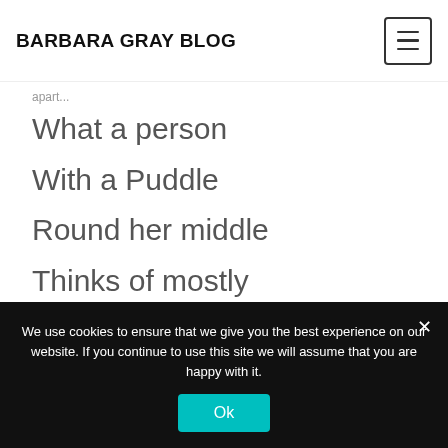BARBARA GRAY BLOG
What a person
With a Puddle
Round her middle
Thinks of mostly
In the muddle
Is the Muddi-
Ness of Mud.
We use cookies to ensure that we give you the best experience on our website. If you continue to use this site we will assume that you are happy with it.